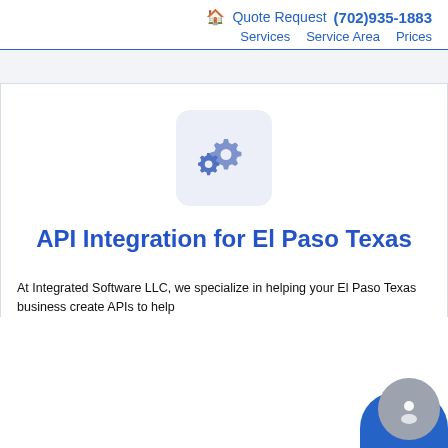🏠 Quote Request (702)935-1883 Services Service Area Prices
[Figure (illustration): Two overlapping gear/cog icons in blue on a light lavender rounded square background, representing API/integration services]
API Integration for El Paso Texas
At Integrated Software LLC, we specialize in helping your El Paso Texas business create APIs to help